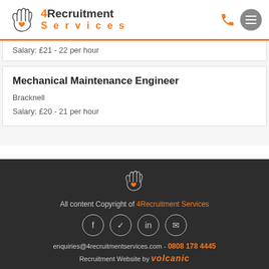[Figure (logo): 4Recruitment Services logo with orange hand/heart icon and company name]
Salary: £21 - 22 per hour
Mechanical Maintenance Engineer
Bracknell
Salary: £20 - 21 per hour
All content Copyright of 4Recruitment Services
enquiries@4recruitmentservices.com - 0808 178 4445
Recruitment Website by volcanic